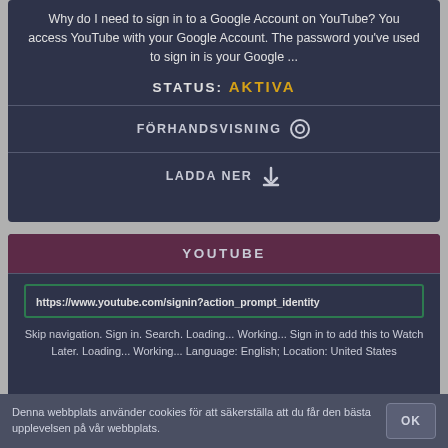Why do I need to sign in to a Google Account on YouTube? You access YouTube with your Google Account. The password you've used to sign in is your Google ...
STATUS: AKTIVA
FÖRHANDSVISNING
LADDA NER
YOUTUBE
https://www.youtube.com/signin?action_prompt_identity
Skip navigation. Sign in. Search. Loading... Working... Sign in to add this to Watch Later. Loading... Working... Language: English; Location: United States
Denna webbplats använder cookies för att säkerställa att du får den bästa upplevelsen på vår webbplats.